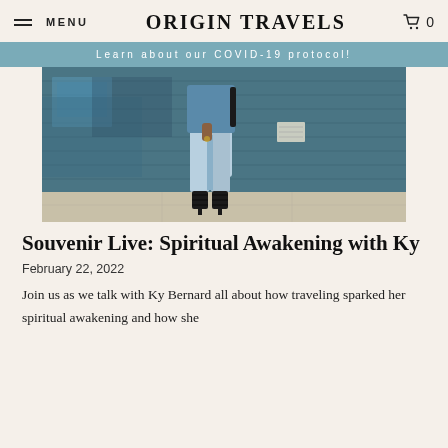MENU   ORIGIN TRAVELS   0
Learn about our COVID-19 protocol!
[Figure (photo): Person wearing light blue jeans and black lace-up heeled sandals standing in front of a blue painted brick wall, photo cropped from waist down]
Souvenir Live: Spiritual Awakening with Ky
February 22, 2022
Join us as we talk with Ky Bernard all about how traveling sparked her spiritual awakening and how she